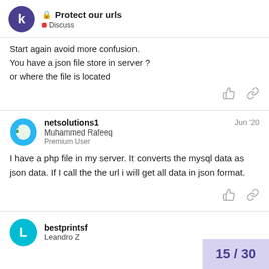Protect our urls — Discuss
Start again avoid more confusion.
You have a json file store in server ?
or where the file is located
netsolutions1
Muhammed Rafeeq
Premium User
Jun '20
I have a php file in my server. It converts the mysql data as json data. If I call the the url i will get all data in json format.
bestprintsf
Leandro Z
15 / 30